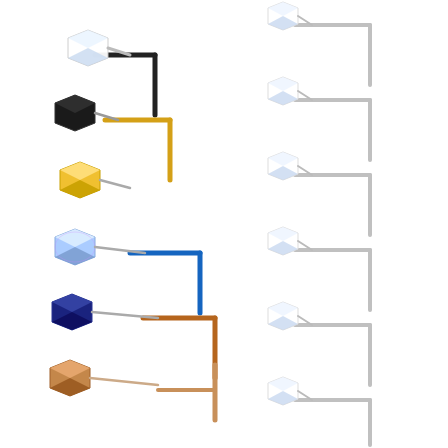[Figure (photo): Product photo showing a collection of L-shaped nose studs/rings arranged in two columns. Left column shows 7 colorful nose studs with gemstone tops in various colors: clear/silver, black, gold/yellow, rainbow/aurora borealis, blue, dark navy, and rose gold/champagne. Each has a correspondingly colored L-shaped metal shaft stacked in a cascading arrangement. Right column shows 6 silver/stainless steel L-shaped nose studs with clear crystal gemstone tops, arranged vertically on a white background.]